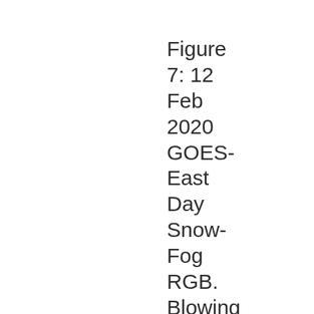Figure 7: 12 Feb 2020 GOES-East Day Snow-Fog RGB. Blowing snow over the Northern Plains.